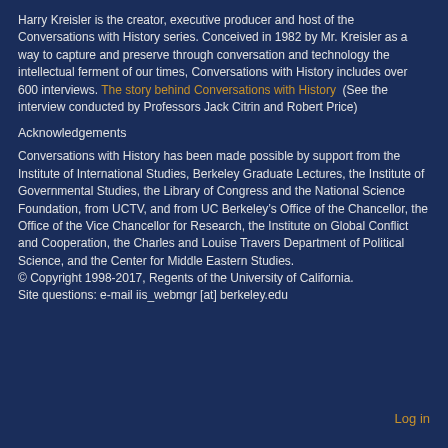Harry Kreisler is the creator, executive producer and host of the Conversations with History series. Conceived in 1982 by Mr. Kreisler as a way to capture and preserve through conversation and technology the intellectual ferment of our times, Conversations with History includes over 600 interviews. The story behind Conversations with History  (See the interview conducted by Professors Jack Citrin and Robert Price)
Acknowledgements
Conversations with History has been made possible by support from the Institute of International Studies, Berkeley Graduate Lectures, the Institute of Governmental Studies, the Library of Congress and the National Science Foundation, from UCTV, and from UC Berkeley’s Office of the Chancellor, the Office of the Vice Chancellor for Research, the Institute on Global Conflict and Cooperation, the Charles and Louise Travers Department of Political Science, and the Center for Middle Eastern Studies.
© Copyright 1998-2017, Regents of the University of California.
Site questions: e-mail iis_webmgr [at] berkeley.edu
Log in